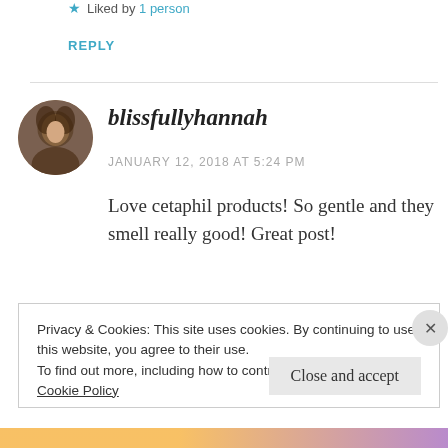Liked by 1 person
REPLY
blissfullyhannah
JANUARY 12, 2018 AT 5:24 PM
Love cetaphil products! So gentle and they smell really good! Great post!
Privacy & Cookies: This site uses cookies. By continuing to use this website, you agree to their use.
To find out more, including how to control cookies, see here:
Cookie Policy
Close and accept